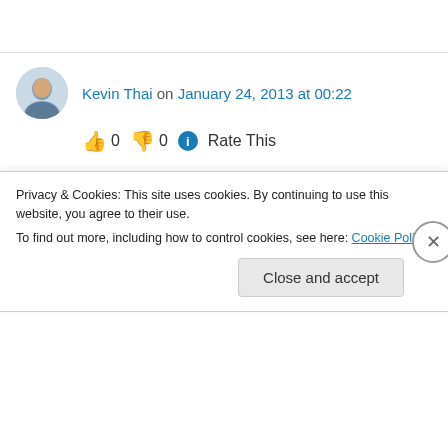Kevin Thai on January 24, 2013 at 00:22
👍 0 👎 0 ℹ Rate This
Hi, just came across this trying to figure the exact same thing, why I could not comment on certain blogger blogs and it's incredibly frustrating. I do see other blogger blogs that
Privacy & Cookies: This site uses cookies. By continuing to use this website, you agree to their use.
To find out more, including how to control cookies, see here: Cookie Policy
Close and accept